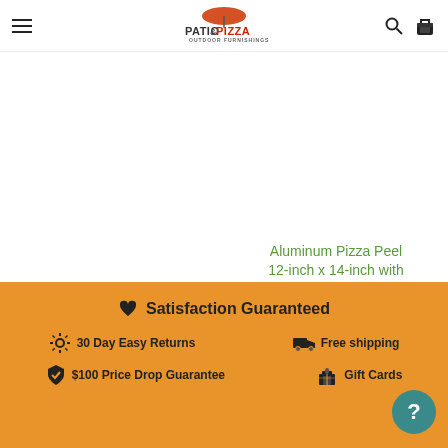Patio & Pizza Outdoor Furnishings
Alfa Cooking Wood
$48.99 USD
Aluminum Pizza Peel 12-inch x 14-inch with 19-inch Handle
$46.95 USD
♥ Satisfaction Guaranteed
☀ 30 Day Easy Returns
🚚 Free shipping
✔ $100 Price Drop Guarantee
🎁 Gift Cards